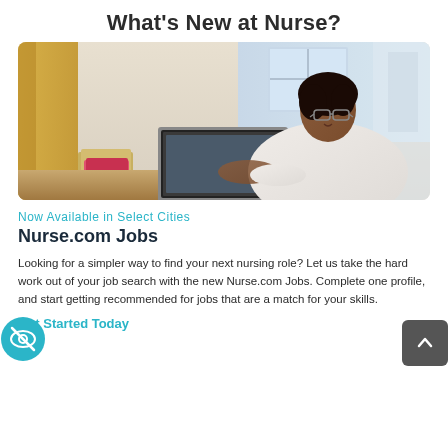What's New at Nurse?
[Figure (photo): Woman with glasses wearing a white sweater sitting at a desk typing on a laptop, with books beside her and a bright window in the background]
Now Available in Select Cities
Nurse.com Jobs
Looking for a simpler way to find your next nursing role? Let us take the hard work out of your job search with the new Nurse.com Jobs. Complete one profile, and start getting recommended for jobs that are a match for your skills.
Get Started Today